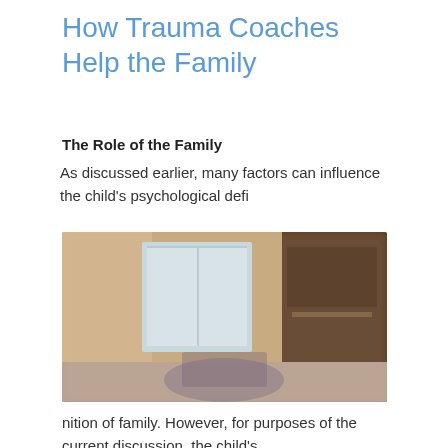How Trauma Coaches Help the Family
The Role of the Family
As discussed earlier, many factors can influence the child's psychological defi
[Figure (photo): Blurred interior room photo showing a living area with furniture, a window, and dark wooden elements in the background.]
nition of family. However, for purposes of the current discussion, the child's